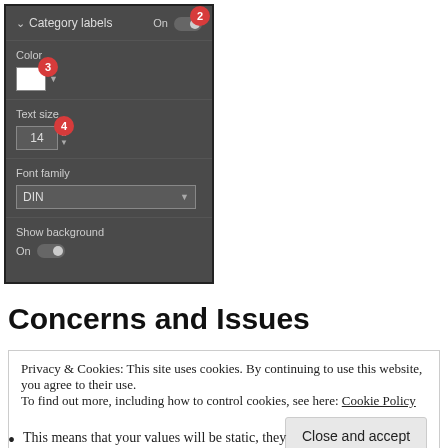[Figure (screenshot): Software UI panel showing Category labels settings: Color (white swatch), Text size (14), Font family (DIN dropdown), Show background (On toggle). Numbered badges 2, 3, 4 annotate specific controls.]
Concerns and Issues
Privacy & Cookies: This site uses cookies. By continuing to use this website, you agree to their use.
To find out more, including how to control cookies, see here: Cookie Policy
Close and accept
This means that your values will be static, they